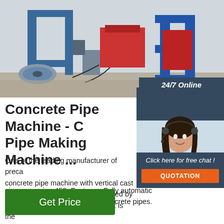[Figure (photo): Industrial factory floor with pipe making machinery, blue metal frames, rollers, and equipment. Concrete floor visible.]
Concrete Pipe Machine - Concrete Pipe Making Machine ...
One of the leading manufacturer of preca concrete pipe machine with vertical cast technology. Concrete is consolidated by vibration and hydraulic pressure. It is the most efficient method for manufacturing pipe as per is - 458. Features: Fully automatic machine for vertical casting of concrete pipes.
[Figure (photo): Customer service agent — smiling woman with headset, 24/7 online support, with Click here for free chat text and QUOTATION button.]
Get Price